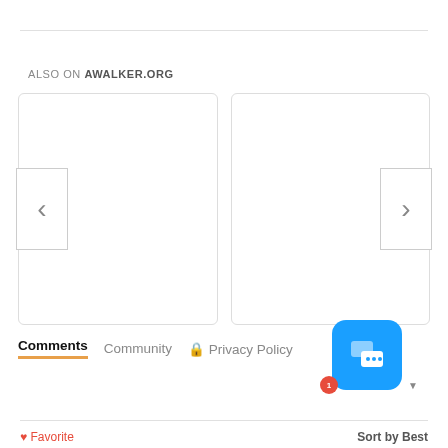ALSO ON AWALKER.ORG
[Figure (screenshot): Two empty card placeholders with left and right navigation arrows for a content carousel]
Comments  Community  Privacy Policy
[Figure (illustration): Blue chat/messaging app button icon]
Favorite
Sort by Best